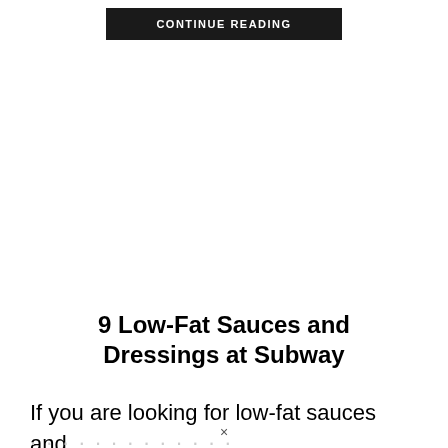CONTINUE READING
9 Low-Fat Sauces and Dressings at Subway
If you are looking for low-fat sauces and dressings at Subway...